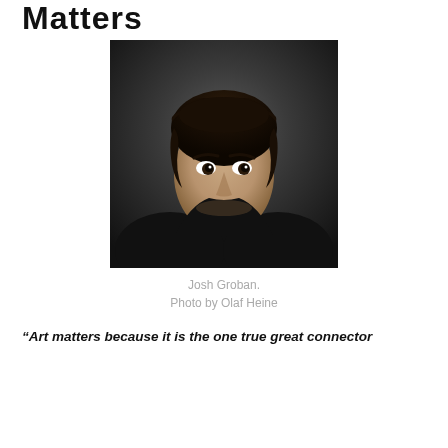Matters
[Figure (photo): Portrait photograph of Josh Groban, a man with dark curly hair wearing a dark outfit against a dark background. Photo by Olaf Heine.]
Josh Groban.
Photo by Olaf Heine
“Art matters because it is the one true great connector